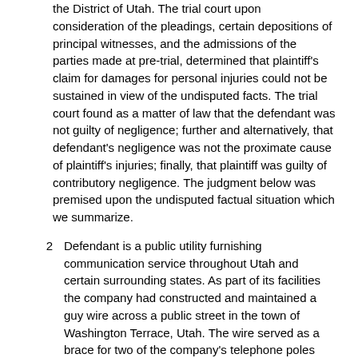the District of Utah. The trial court upon consideration of the pleadings, certain depositions of principal witnesses, and the admissions of the parties made at pre-trial, determined that plaintiff's claim for damages for personal injuries could not be sustained in view of the undisputed facts. The trial court found as a matter of law that the defendant was not guilty of negligence; further and alternatively, that defendant's negligence was not the proximate cause of plaintiff's injuries; finally, that plaintiff was guilty of contributory negligence. The judgment below was premised upon the undisputed factual situation which we summarize.
Defendant is a public utility furnishing communication service throughout Utah and certain surrounding states. As part of its facilities the company had constructed and maintained a guy wire across a public street in the town of Washington Terrace, Utah. The wire served as a brace for two of the company's telephone poles and extended horizontally across the street at a height of 16 feet, eight inches.
On July 31, 1958, plaintiff was riding on the top of a house that was being moved under contract by his employer. As the house approached the defendant's guy wire it became apparent that there was not clearance and that the peak of the house extended several